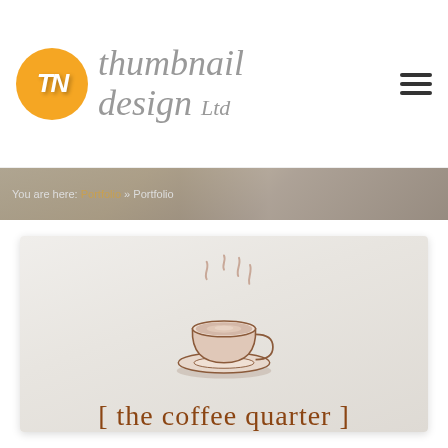[Figure (logo): Thumbnail Design Ltd logo: orange circle with TN initials, gray italic script brand name, and hamburger menu icon]
You are here: Portfolio » Portfolio
[Figure (logo): The Coffee Quarter logo: illustrated coffee cup on saucer with steam lines above, text '[ the coffee quarter ]' in brown serif font, on light gray gradient background]